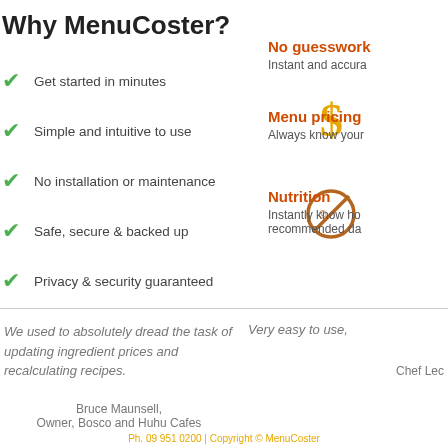Why MenuCoster?
Get started in minutes
Simple and intuitive to use
No installation or maintenance
Safe, secure & backed up
Privacy & security guaranteed
No guesswork
Instant and accura
[Figure (illustration): Dollar sign icon in gold/yellow color]
Menu pricing
Always know your
[Figure (illustration): No sign / forbidden circle icon in orange/brown]
Nutrition
Instantly know ho recommended da
We used to absolutely dread the task of updating ingredient prices and recalculating recipes.
Bruce Maunsell,
Owner, Bosco and Huhu Cafes
Very easy to use,
Chef Lec
Ph. 09 951 0200 | Copyright © MenuCoster